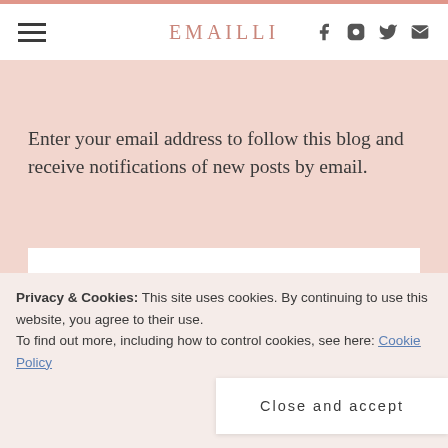EMAILLI
Enter your email address to follow this blog and receive notifications of new posts by email.
[Figure (screenshot): Email Address input field (white rectangle)]
[Figure (screenshot): FOLLOW button (dark rounded rectangle)]
Privacy & Cookies: This site uses cookies. By continuing to use this website, you agree to their use. To find out more, including how to control cookies, see here: Cookie Policy
Close and accept